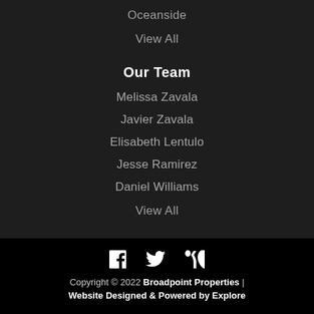Oceanside
View All
Our Team
Melissa Zavala
Javier Zavala
Elisabeth Lentulo
Jesse Ramirez
Daniel Williams
View All
[Figure (illustration): Social media icons: Facebook, Twitter, RSS feed]
Copyright © 2022 Broadpoint Properties | Website Designed & Powered by Explore